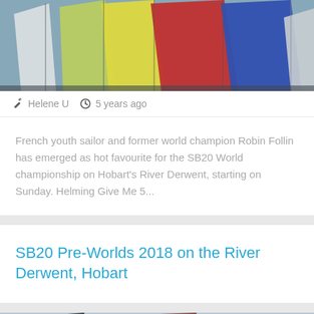[Figure (photo): Colorful sailing spinnakers — white, yellow-green, yellow, red, blue, and grey sails on sailboats]
Helene U   5 years ago
French youth sailor and former world champion Robin Follin has emerged as hot favourite for the SB20 World championship on Hobart's River Derwent, starting on Sunday. Helming Give Me 5...
SB20 Pre-Worlds 2018 on the River Derwent, Hobart
[Figure (photo): Sailing boats on water with colourful spinnaker sails, FFVoile logo visible on one sail]